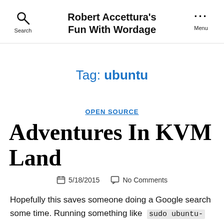Robert Accettura's Fun With Wordage
Tag: ubuntu
OPEN SOURCE
Adventures In KVM Land
5/18/2015  No Comments
Hopefully this saves someone doing a Google search some time. Running something like  sudo ubuntu-